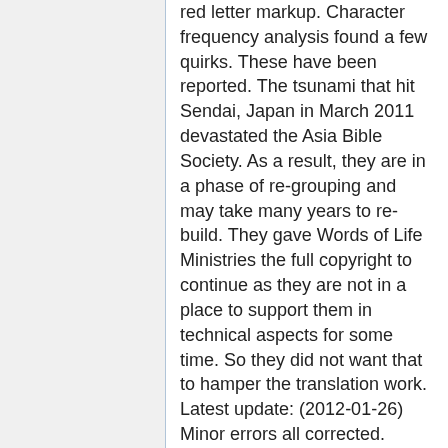red letter markup. Character frequency analysis found a few quirks. These have been reported. The tsunami that hit Sendai, Japan in March 2011 devastated the Asia Bible Society. As a result, they are in a phase of re-grouping and may take many years to re-build. They gave Words of Life Ministries the full copyright to continue as they are not in a place to support them in technical aspects for some time. So they did not want that to hamper the translation work. Latest update: (2012-01-26) Minor errors all corrected. Module submitted to CrossWire.
David Haslam 05:29, 29 July 2012 (MDT)